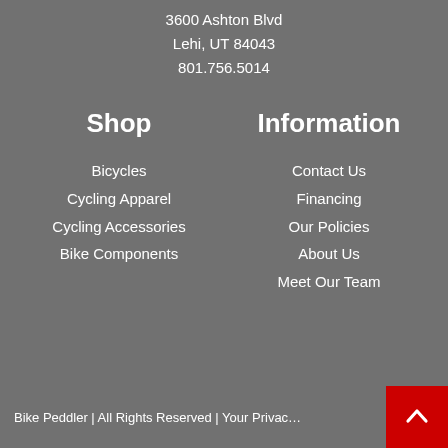3600 Ashton Blvd
Lehi, UT 84043
801.756.5014
Shop
Bicycles
Cycling Apparel
Cycling Accessories
Bike Components
Information
Contact Us
Financing
Our Policies
About Us
Meet Our Team
Bike Peddler | All Rights Reserved | Your Privac…